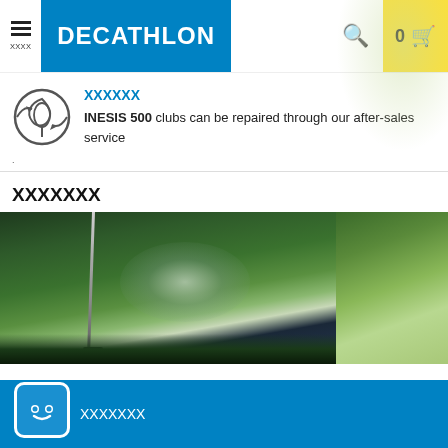DECATHLON — navigation header with menu, logo, search, cart (0)
INESIS 500 clubs can be repaired through our after-sales service
（product section heading with CJK/tofu characters）
[Figure (photo): Golf club resting on green grass, blurred background, partial second image on right]
Chatbot widget with CJK/tofu text label on blue bar